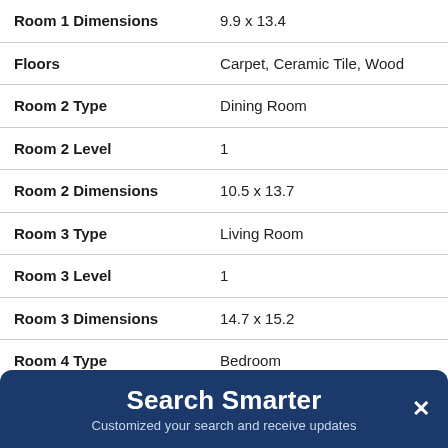| Property | Value |
| --- | --- |
| Room 1 Dimensions | 9.9 x 13.4 |
| Floors | Carpet, Ceramic Tile, Wood |
| Room 2 Type | Dining Room |
| Room 2 Level | 1 |
| Room 2 Dimensions | 10.5 x 13.7 |
| Room 3 Type | Living Room |
| Room 3 Level | 1 |
| Room 3 Dimensions | 14.7 x 15.2 |
| Room 4 Type | Bedroom |
| Room 4 Level | 1 |
| Room 4 Dimensions | 10.9 x 12.4 |
Search Smarter
Customized your search and receive updates